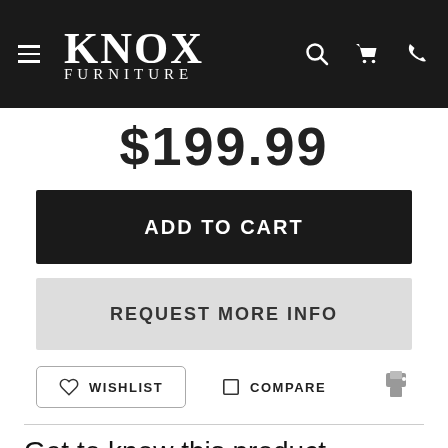KNOX FURNITURE
$199.99
ADD TO CART
REQUEST MORE INFO
WISHLIST   COMPARE
Get to know this product.